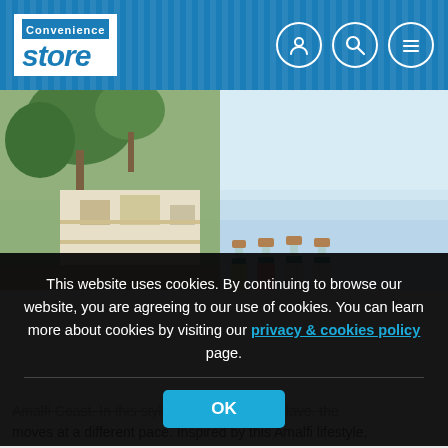Convenience store
[Figure (photo): Photo of an Amalfi coast scene with greenery, white buildings, sea in background, and several small gin/liqueur bottles with teal labels and cork tops arranged in the foreground]
This website uses cookies. By continuing to browse our website, you are agreeing to our use of cookies. You can learn more about cookies by visiting our privacy & cookies policy page.
OK
Amalfi Coast. In this stylish, sun-soaked enclave, the moves at a different pace. Inspired by this Amalfi lifestyle,